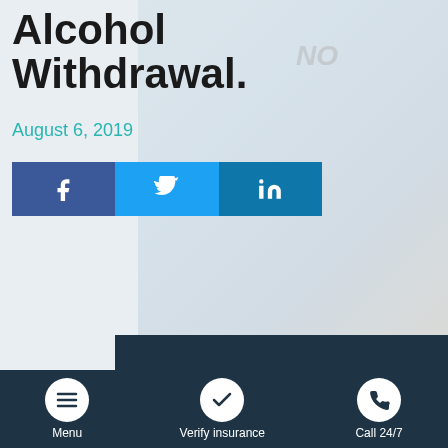Alcohol Withdrawal.
August 6, 2019
[Figure (other): Social share buttons for Facebook, Twitter, and LinkedIn]
[Figure (other): Dark banner strip and faded background photo of a person with NO sign]
According to a recent study conducted by the Substance Abuse and Mental Health Services
Menu | Verify insurance | Call 24/7